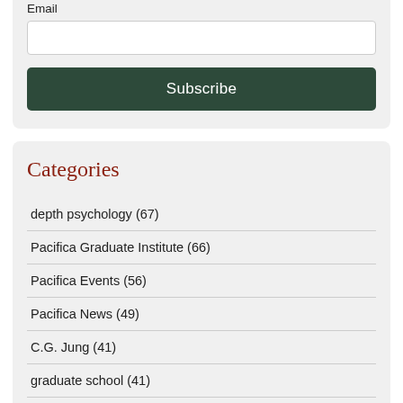Email
Categories
depth psychology (67)
Pacifica Graduate Institute (66)
Pacifica Events (56)
Pacifica News (49)
C.G. Jung (41)
graduate school (41)
Mythology (40)
Current Affairs (35)